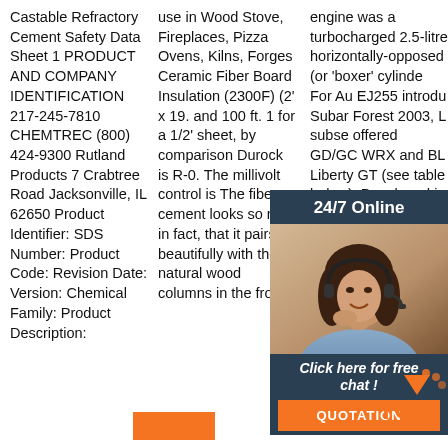Castable Refractory Cement Safety Data Sheet 1 PRODUCT AND COMPANY IDENTIFICATION 217-245-7810 CHEMTREC (800) 424-9300 Rutland Products 7 Crabtree Road Jacksonville, IL 62650 Product Identifier: SDS Number: Product Code: Revision Date: Version: Chemical Family: Product Description:
use in Wood Stove, Fireplaces, Pizza Ovens, Kilns, Forges Ceramic Fiber Board Insulation (2300F) (2' x 19. and 100 ft. 1 for a 1/2' sheet, by comparison Durock is R-0. The millivolt control is The fiber cement looks so real in fact, that it pairs beautifully with the natural wood columns in the front.
engine was a turbocharged 2.5-litre horizontally-opposed (or 'boxer' cylinde For Au EJ255 introdu Subar Forest 2003, L subse offered GD/GC WRX and BL Liberty GT (see table below). Developed in conjunction with the more powerful
[Figure (infographic): 24/7 Online chat widget with woman wearing headset, 'Click here for free chat!' text and orange QUOTATION button]
[Figure (logo): TOP logo with orange triangle/arrow icon and orange dot accents]